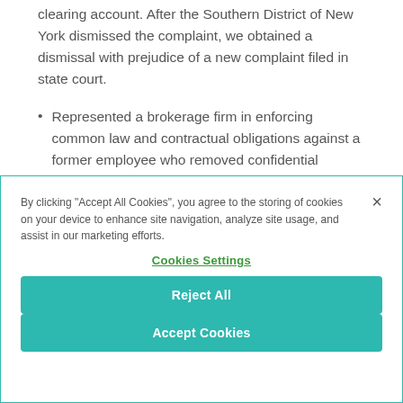clearing account. After the Southern District of New York dismissed the complaint, we obtained a dismissal with prejudice of a new complaint filed in state court.
Represented a brokerage firm in enforcing common law and contractual obligations against a former employee who removed confidential
By clicking "Accept All Cookies", you agree to the storing of cookies on your device to enhance site navigation, analyze site usage, and assist in our marketing efforts.
Cookies Settings
Reject All
Accept Cookies